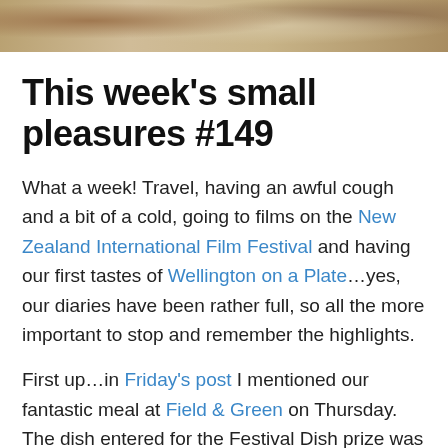[Figure (photo): Partial photo showing an animal or fur texture in warm brown tones, cropped at top of page]
This week's small pleasures #149
What a week! Travel, having an awful cough and a bit of a cold, going to films on the New Zealand International Film Festival and having our first tastes of Wellington on a Plate…yes, our diaries have been rather full, so all the more important to stop and remember the highlights.
First up…in Friday's post I mentioned our fantastic meal at Field & Green on Thursday. The dish entered for the Festival Dish prize was this amazing cassola. Think the lightest baked ricotta citrus soufflé with marmalade and dark chocolate…it was absolutely fantastic and a real pleasure to savour and enjoy. This is what it looks like –